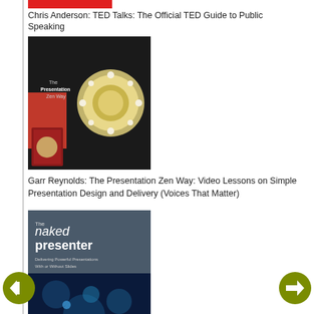Chris Anderson: TED Talks: The Official TED Guide to Public Speaking
[Figure (photo): Book cover - Garr Reynolds Presentation Zen Way video lessons package with decorative circular design]
Garr Reynolds: The Presentation Zen Way: Video Lessons on Simple Presentation Design and Delivery (Voices That Matter)
[Figure (photo): Book cover - The Naked Presenter by Garr Reynolds, featuring a wooden bowl on a dock]
Garr Reynolds: The Naked Presenter: Delivering Powerful Presentations With or Without Slides (Voices That Matter)
[Figure (photo): Book cover - Resonate by Nancy Duarte, blue bokeh background with the word resonate]